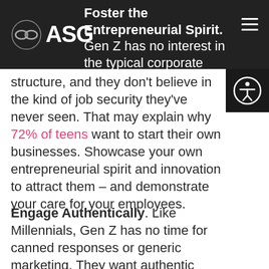Foster the Entrepreneurial Spirit. Gen Z has no interest in the typical corporate structure, and they don't believe in the kind of job security they've never seen. That may explain why 72% of teens want to start their own businesses. Showcase your own entrepreneurial spirit and innovation to attract them – and demonstrate your care for your employees.
Engage Authentically. Like Millennials, Gen Z has no time for canned responses or generic marketing. They want authentic engagement and interaction that feels personal. These are purposeful